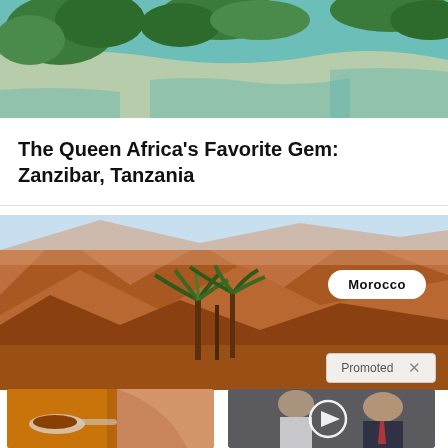[Figure (photo): Aerial view of Zanzibar coastline with turquoise water and green trees]
The Queen Africa’s Favorite Gem: Zanzibar, Tanzania
[Figure (photo): Morocco landscape with red rocky mountains and palm trees, with Morocco label badge]
Promoted ×
[Figure (photo): Two vegetables kill belly fat - spoon with brown powder and slim body]
These 2 Vegetables Kill Your Belly And Arm Fat Overnight
🔥 16,281
[Figure (photo): Democrats video - Melania and Donald Trump with video play button overlay]
Democrats Want This Video Destroyed — Watch Now Before It’s Banned
🔥 235,231